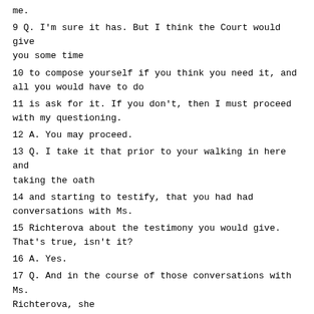me.
9 Q. I'm sure it has. But I think the Court would give you some time
10 to compose yourself if you think you need it, and all you would have to do
11 is ask for it. If you don't, then I must proceed with my questioning.
12 A. You may proceed.
13 Q. I take it that prior to your walking in here and taking the oath
14 and starting to testify, that you had had conversations with Ms.
15 Richterova about the testimony you would give. That's true, isn't it?
16 A. Yes.
17 Q. And in the course of those conversations with Ms. Richterova, she
18 must have asked, or you must have told her, that all of a sudden you
19 remember Mr. Brdjanin making this statement about 3 to 5 per cent of